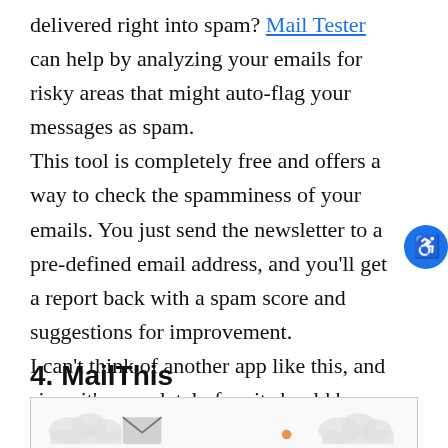delivered right into spam? Mail Tester can help by analyzing your emails for risky areas that might auto-flag your messages as spam.
This tool is completely free and offers a way to check the spamminess of your emails. You just send the newsletter to a pre-defined email address, and you'll get a report back with a spam score and suggestions for improvement.
I can't think of another app like this, and since it's completely free it should be near the top of your list of handy email tools.
4. MailThis
[Figure (screenshot): Bottom strip of a screenshot showing a web interface, partially cropped]